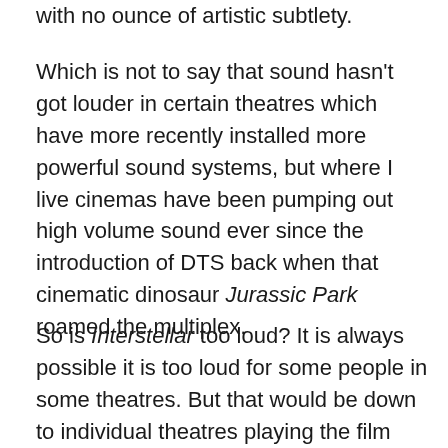with no ounce of artistic subtlety.
Which is not to say that sound hasn't got louder in certain theatres which have more recently installed more powerful sound systems, but where I live cinemas have been pumping out high volume sound ever since the introduction of DTS back when that cinematic dinosaur Jurassic Park roamed the multiplex.
So is Interstellar too loud? It is always possible it is too loud for some people in some theatres. But that would be down to individual theatres playing the film louder than some people would like. It can also be down to high volume but low quality sound reproduction, to overdriving equipment which just isn't up to the job. A great system will be enjoyable to listen to at far higher volume than a poor